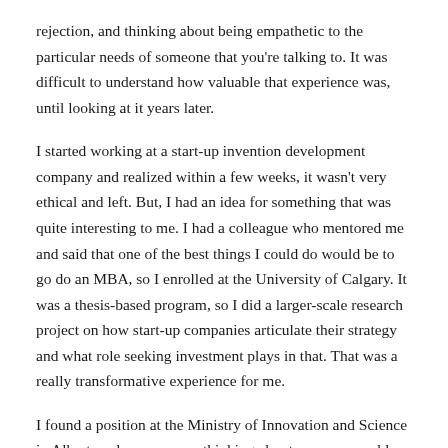rejection, and thinking about being empathetic to the particular needs of someone that you're talking to. It was difficult to understand how valuable that experience was, until looking at it years later.
I started working at a start-up invention development company and realized within a few weeks, it wasn't very ethical and left. But, I had an idea for something that was quite interesting to me. I had a colleague who mentored me and said that one of the best things I could do would be to go do an MBA, so I enrolled at the University of Calgary. It was a thesis-based program, so I did a larger-scale research project on how start-up companies articulate their strategy and what role seeking investment plays in that. That was a really transformative experience for me.
I found a position at the Ministry of Innovation and Science in Alberta, where we were thinking about ways we could introduce new policies and initiatives to catalyze knowledge-based economic growth. Alberta is well-known for its energy industry, which is baked into the DNA of the province,